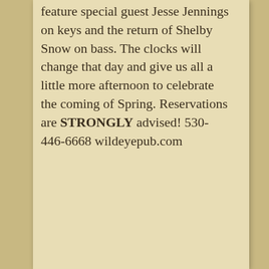feature special guest Jesse Jennings on keys and the return of Shelby Snow on bass. The clocks will change that day and give us all a little more afternoon to celebrate the coming of Spring. Reservations are STRONGLY advised! 530-446-6668 wildeyepub.com
Find out more »
[Figure (other): Dark red banner with white bold text reading 'April 2022']